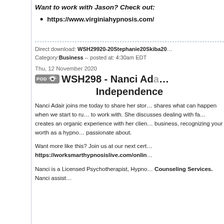Want to work with Jason? Check out:
https://www.virginiahypnosis.com/
Direct download: WSH29920-20Stephanie20Skiba20... Category: Business -- posted at: 4:30am EDT
Thu, 12 November 2020
WSH298 - Nanci Ada... Independence
Nanci Adair joins me today to share her stor... shares what can happen when we start to ru... to work with. She discusses dealing with fa... creates an organic experience with her clien... business, recognizing your worth as a hypno... passionate about.
Want more like this? Join us at our next cert... https://worksmarthypnosislive.com/onlin...
Nanci is a Licensed Psychotherapist, Hypno... Counseling Services. Nanci assist...